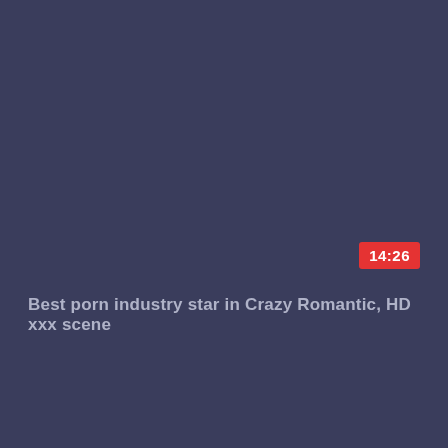[Figure (screenshot): Dark blue-grey video thumbnail placeholder with a duration badge showing 14:26 in red and a video title below]
14:26
Best porn industry star in Crazy Romantic, HD xxx scene